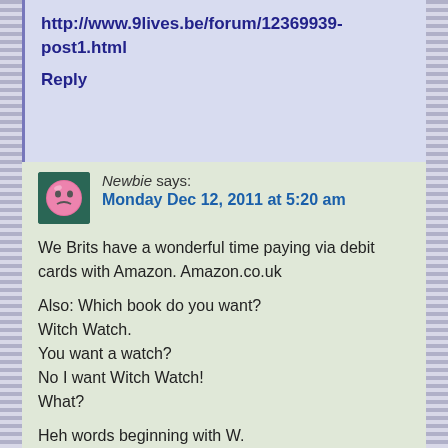http://www.9lives.be/forum/12369939-post1.html
Reply
Newbie says: Monday Dec 12, 2011 at 5:20 am
We Brits have a wonderful time paying via debit cards with Amazon. Amazon.co.uk

Also: Which book do you want?
Witch Watch.
You want a watch?
No I want Witch Watch!
What?

Heh words beginning with W.
Reply